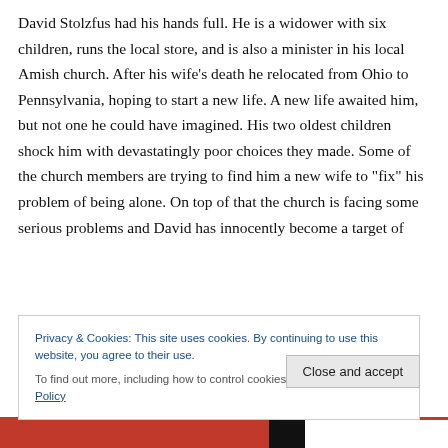David Stolzfus had his hands full. He is a widower with six children, runs the local store, and is also a minister in his local Amish church. After his wife’s death he relocated from Ohio to Pennsylvania, hoping to start a new life. A new life awaited him, but not one he could have imagined. His two oldest children shock him with devastatingly poor choices they made. Some of the church members are trying to find him a new wife to “fix” his problem of being alone. On top of that the church is facing some serious problems and David has innocently become a target of
Privacy & Cookies: This site uses cookies. By continuing to use this website, you agree to their use.
To find out more, including how to control cookies, see here: Cookie Policy
Close and accept